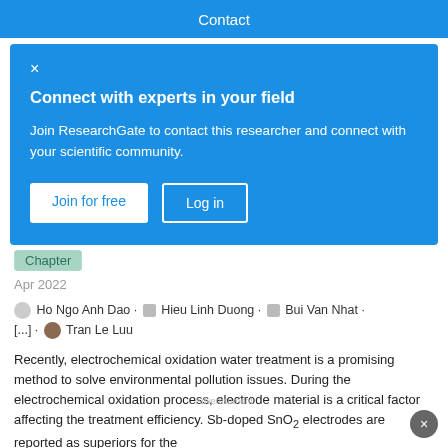Contact
Connect with experts in your field
Join ResearchGate to contact this researcher and connect with your scientific community.
Join for free   Log in
Chapter
Apr 2022
Ho Ngo Anh Dao · Hieu Linh Duong · Bui Van Nhat · [...] · Tran Le Luu
Recently, electrochemical oxidation water treatment is a promising method to solve environmental pollution issues. During the electrochemical oxidation process, electrode material is a critical factor affecting the treatment efficiency. Sb-doped SnO2 electrodes are reported as superiors for the
Advertisement